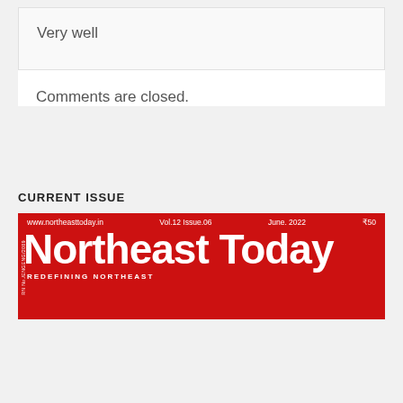Very well
Comments are closed.
CURRENT ISSUE
[Figure (illustration): Northeast Today magazine cover: red background with large white 'Northeast Today' title text. Top bar shows www.northeasttoday.in, Vol.12 Issue.06, June. 2022, ₹50. Bottom text reads REDEFINING NORTHEAST.]